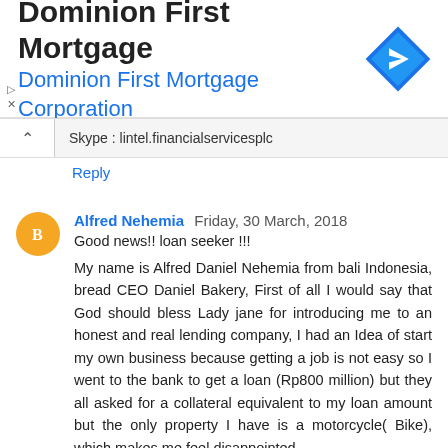[Figure (logo): Dominion First Mortgage ad banner with logo icon (blue diamond with right-arrow)]
Skype : lintel.financialservicesplc
Reply
Alfred Nehemia  Friday, 30 March, 2018
Good news!! loan seeker !!!
My name is Alfred Daniel Nehemia from bali Indonesia, bread CEO Daniel Bakery, First of all I would say that God should bless Lady jane for introducing me to an honest and real lending company, I had an Idea of start my own business because getting a job is not easy so I went to the bank to get a loan (Rp800 million) but they all asked for a collateral equivalent to my loan amount but the only property I have is a motorcycle( Bike), which makes me feel disappointed